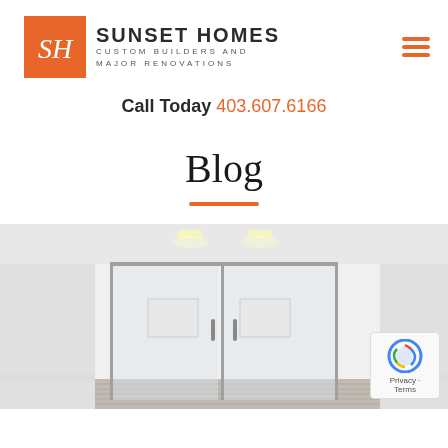[Figure (logo): Sunset Homes logo: orange square with SH script initials, followed by SUNSET HOMES in bold with CUSTOM BUILDERS AND MAJOR RENOVATIONS in spaced subtitle text]
Call Today 403.607.6166
Blog
[Figure (photo): Interior photo of a modern basement renovation showing glass sliding doors, white walls, recessed lighting, and light wood floors]